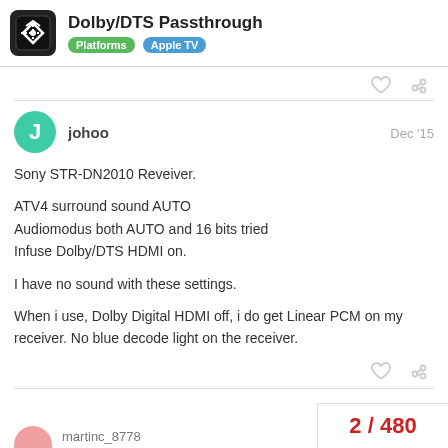Dolby/DTS Passthrough — Platforms > Apple TV
johoo  Dec '15
Sony STR-DN2010 Reveiver.

ATV4 surround sound AUTO
Audiomodus both AUTO and 16 bits tried
Infuse Dolby/DTS HDMI on.

I have no sound with these settings.

When i use, Dolby Digital HDMI off, i do get Linear PCM on my receiver. No blue decode light on the receiver.
2 / 480